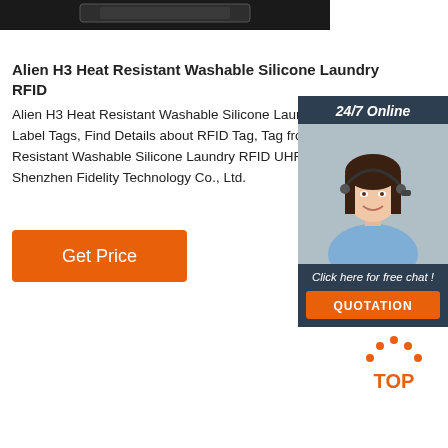[Figure (photo): Dark product device at the top of the page]
Alien H3 Heat Resistant Washable Silicone Laundry RFID
Alien H3 Heat Resistant Washable Silicone Laundry RFID UHF Label Tags, Find Details about RFID Tag, Tag from Alien H3 Heat Resistant Washable Silicone Laundry RFID UHF Label Tags - Shenzhen Fidelity Technology Co., Ltd.
[Figure (photo): 24/7 Online chat widget with a customer service representative photo and a QUOTATION button]
[Figure (infographic): Get Price orange button]
[Figure (logo): TOP icon with orange dots arranged in an arc above the word TOP in orange]